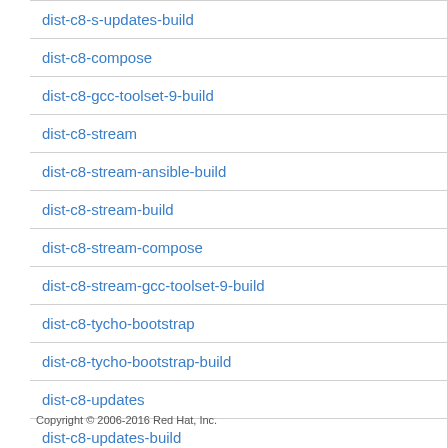| dist-c8-s-updates-build |
| dist-c8-compose |
| dist-c8-gcc-toolset-9-build |
| dist-c8-stream |
| dist-c8-stream-ansible-build |
| dist-c8-stream-build |
| dist-c8-stream-compose |
| dist-c8-stream-gcc-toolset-9-build |
| dist-c8-tycho-bootstrap |
| dist-c8-tycho-bootstrap-build |
| dist-c8-updates |
| dist-c8-updates-build |
| gcc-toolset-9-c8-build |
| module-centos-8.2.0-build |
Copyright © 2006-2016 Red Hat, Inc.